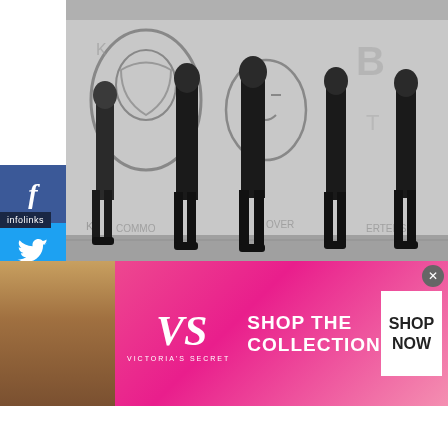[Figure (photo): Band photo of Of Mice & Men standing in front of a graffiti wall, black and white tones, members dressed in dark clothing]
bands who have managed to battle their way through the barrage of metalcore bands in their scene to come out as some of this generation's rising stars is your thing- then Of Mice & Men may just be to your liking!
they already are your thing, and/or they interest you in
[Figure (screenshot): Victoria's Secret advertisement banner: photo of model, VS logo, text SHOP THE COLLECTION, button SHOP NOW]